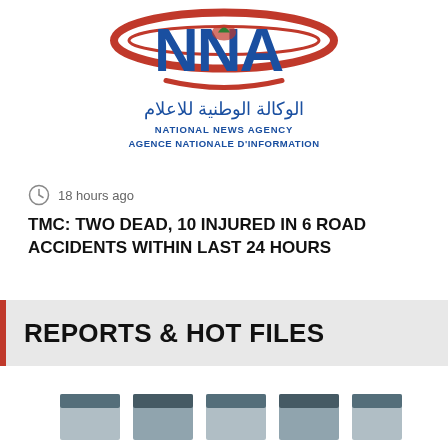[Figure (logo): NNA (National News Agency / Agence Nationale d'Information) logo with stylized letters, cedar emblem and Arabic text الوكالة الوطنية للاعلام]
18 hours ago
TMC: TWO DEAD, 10 INJURED IN 6 ROAD ACCIDENTS WITHIN LAST 24 HOURS
REPORTS & HOT FILES
[Figure (photo): Partially visible thumbnail images at the bottom of the page]